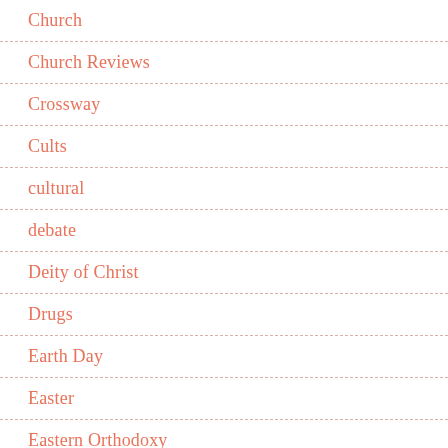Church
Church Reviews
Crossway
Cults
cultural
debate
Deity of Christ
Drugs
Earth Day
Easter
Eastern Orthodoxy